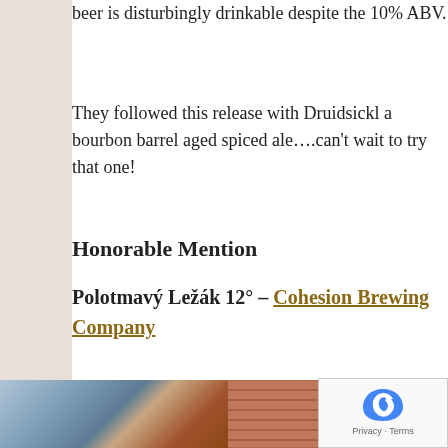beer is disturbingly drinkable despite the 10% ABV.
They followed this release with Druidsickl a bourbon barrel aged spiced ale….can't wait to try that one!
Honorable Mention
Polotmavý Ležák 12° – Cohesion Brewing Company
[Figure (photo): Photo of Cohesion Brewing Company exterior showing brick wall and windows]